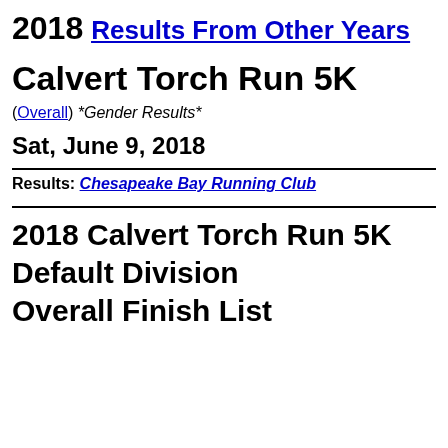2018   Results From Other Years
Calvert Torch Run 5K
(Overall) *Gender Results*
Sat, June 9, 2018
Results: Chesapeake Bay Running Club
2018 Calvert Torch Run 5K
Default Division
Overall Finish List